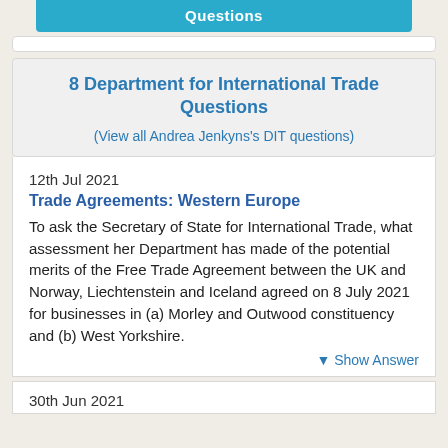Questions
8 Department for International Trade Questions
(View all Andrea Jenkyns's DIT questions)
12th Jul 2021
Trade Agreements: Western Europe
To ask the Secretary of State for International Trade, what assessment her Department has made of the potential merits of the Free Trade Agreement between the UK and Norway, Liechtenstein and Iceland agreed on 8 July 2021 for businesses in (a) Morley and Outwood constituency and (b) West Yorkshire.
▼ Show Answer
30th Jun 2021